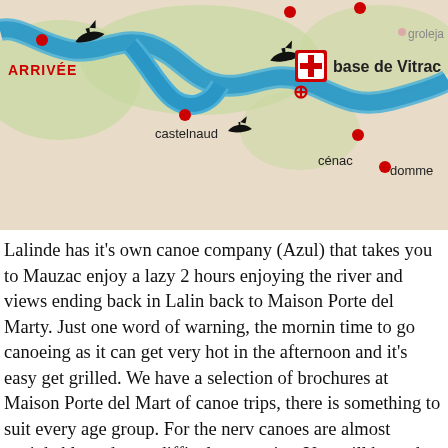[Figure (map): Map showing a canoe route along the Dordogne river with locations marked: ARRIVÉE (red text, top left), castelnaud, cénac, domme, base de Vitrac (with red cross icon), groleja... (partial). Blue river line winds through the map, red dots mark locations, black canoe silhouettes shown.]
Lalinde has it's own canoe company (Azul) that takes you to Mauzac enjoy a lazy 2 hours enjoying the river and views ending back in Lalin back to Maison Porte del Marty. Just one word of warning, the mornin time to go canoeing as it can get very hot in the afternoon and it's easy get grilled. We have a selection of brochures at Maison Porte del Mart of canoe trips, there is something to suit every age group. For the nerv canoes are almost unsinkable and very difficult to capsize. You will be and some plastic drums to put your personal things in, with the river f destination, you can paddle furiously or just drift using the paddles to